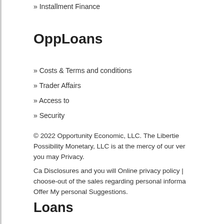» Installment Finance
OppLoans
» Costs & Terms and conditions
» Trader Affairs
» Access to
» Security
© 2022 Opportunity Economic, LLC. The Liberties Possibility Monetary, LLC is at the mercy of our very you may Privacy.
Ca Disclosures and you will Online privacy policy | choose-out of the sales regarding personal informa Offer My personal Suggestions.
Loans
Apps recorded on this web site may be originated multiple lenders, including: Opportunity Economic LLC certain claims; otherwise one of our lending people.
NV Residents: Making use of high-appeal money p small-identity economic needs only and not due t monetary solution. People having credit troubles